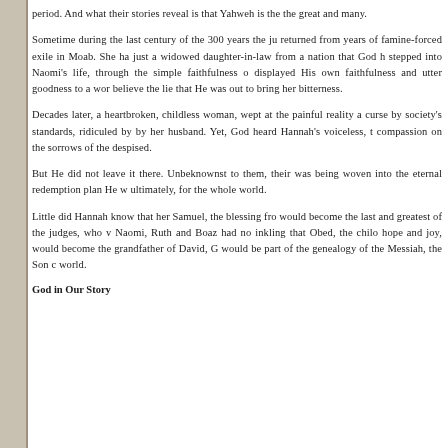period. And what their stories reveal is that Yahweh is the the great and many.
Sometime during the last century of the 300 years the ju returned from years of famine-forced exile in Moab. She ha just a widowed daughter-in-law from a nation that God h stepped into Naomi's life, through the simple faithfulness o displayed His own faithfulness and utter goodness to a wor believe the lie that He was out to bring her bitterness.
Decades later, a heartbroken, childless woman, wept at the painful reality a curse by society's standards, ridiculed by by her husband. Yet, God heard Hannah's voiceless, t compassion on the sorrows of the despised.
But He did not leave it there. Unbeknownst to them, their was being woven into the eternal redemption plan He w ultimately, for the whole world.
Little did Hannah know that her Samuel, the blessing fro would become the last and greatest of the judges, who v Naomi, Ruth and Boaz had no inkling that Obed, the chilo hope and joy, would become the grandfather of David, G would be part of the genealogy of the Messiah, the Son c world.
God in Our Story